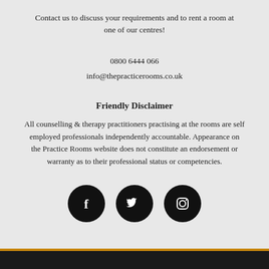Contact us to discuss your requirements and to rent a room at one of our centres!
0800 6444 066
info@thepracticerooms.co.uk
Friendly Disclaimer
All counselling & therapy practitioners practising at the rooms are self employed professionals independently accountable. Appearance on the Practice Rooms website does not constitute an endorsement or warranty as to their professional status or competencies.
[Figure (illustration): Three black circular social media icons: Facebook (f), Twitter (bird), and Instagram (camera)]